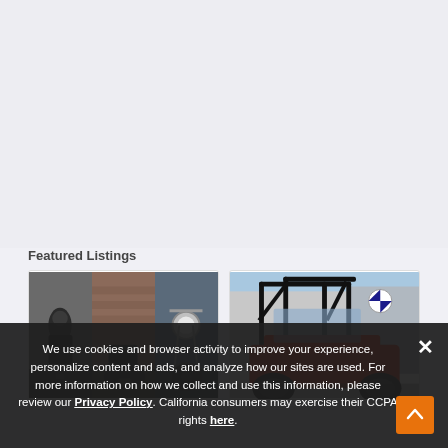Featured Listings
[Figure (photo): Collage of motorcycle photos including riders on road and parked bikes]
[Figure (photo): Red and black UTV/side-by-side vehicle with roll cage against a building]
We use cookies and browser activity to improve your experience, personalize content and ads, and analyze how our sites are used. For more information on how we collect and use this information, please review our Privacy Policy. California consumers may exercise their CCPA rights here.